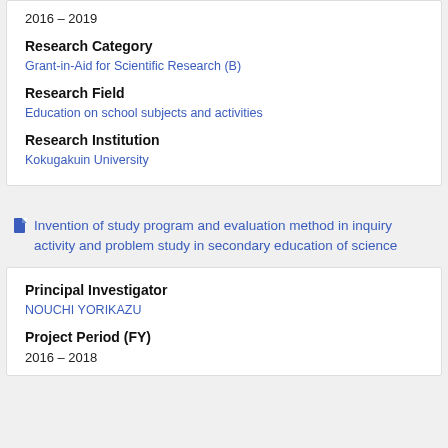2016 – 2019
Research Category
Grant-in-Aid for Scientific Research (B)
Research Field
Education on school subjects and activities
Research Institution
Kokugakuin University
Invention of study program and evaluation method in inquiry activity and problem study in secondary education of science
Principal Investigator
NOUCHI YORIKAZU
Project Period (FY)
2016 – 2018